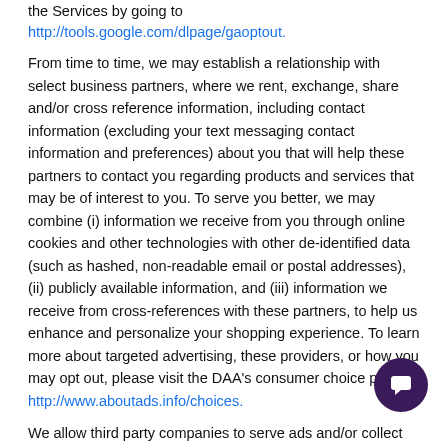the Services by going to http://tools.google.com/dlpage/gaoptout.
From time to time, we may establish a relationship with select business partners, where we rent, exchange, share and/or cross reference information, including contact information (excluding your text messaging contact information and preferences) about you that will help these partners to contact you regarding products and services that may be of interest to you. To serve you better, we may combine (i) information we receive from you through online cookies and other technologies with other de-identified data (such as hashed, non-readable email or postal addresses), (ii) publicly available information, and (iii) information we receive from cross-references with these partners, to help us enhance and personalize your shopping experience. To learn more about targeted advertising, these providers, or how you may opt out, please visit the DAA's consumer choice page at http://www.aboutads.info/choices.
We allow third party companies to serve ads and/or collect anonymous information (e.g., click stream information, browser type, time, etc.) when you visit our website, which allow us and our